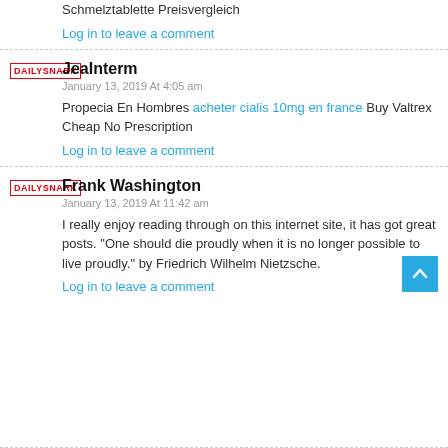Schmelztablette Preisvergleich
Log in to leave a comment
JeaInterm
January 13, 2019 At 4:05 am
Propecia En Hombres acheter cialis 10mg en france Buy Valtrex Cheap No Prescription
Log in to leave a comment
Frank Washington
January 13, 2019 At 11:42 am
I really enjoy reading through on this internet site, it has got great posts. "One should die proudly when it is no longer possible to live proudly." by Friedrich Wilhelm Nietzsche.
Log in to leave a comment